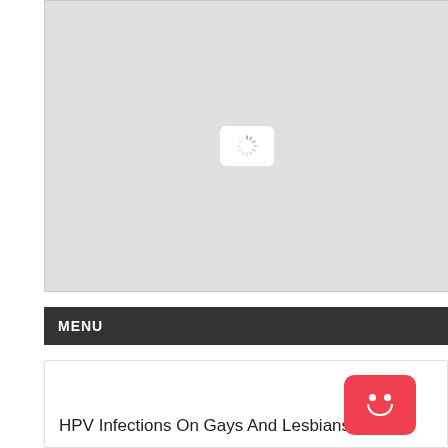[Figure (map): A large gray placeholder map area with a loading spinner icon in the center, indicating a map is loading.]
MENU
[Figure (other): Red chatbot/assistant button with a smiley face icon in the bottom right corner.]
HPV Infections On Gays And Lesbians